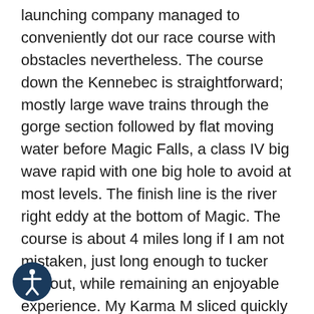launching company managed to conveniently dot our race course with obstacles nevertheless. The course down the Kennebec is straightforward; mostly large wave trains through the gorge section followed by flat moving water before Magic Falls, a class IV big wave rapid with one big hole to avoid at most levels. The finish line is the river right eddy at the bottom of Magic. The course is about 4 miles long if I am not mistaken, just long enough to tucker you out, while remaining an enjoyable experience. My Karma M sliced quickly and smoothly through the waves but I did not paddle quite quick enough! My roommate and great speed